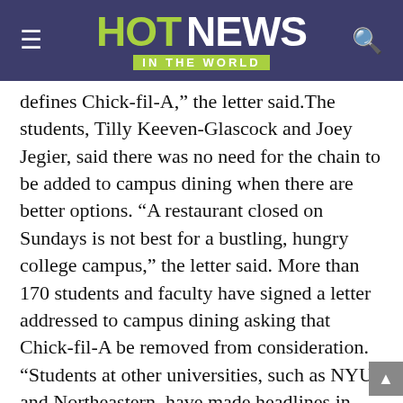HOT NEWS IN THE WORLD
defines Chick-fil-A,” the letter said.The students, Tilly Keeven-Glascock and Joey Jegier, said there was no need for the chain to be added to campus dining when there are better options. “A restaurant closed on Sundays is not best for a bustling, hungry college campus,” the letter said. More than 170 students and faculty have signed a letter addressed to campus dining asking that Chick-fil-A be removed from consideration. “Students at other universities, such as NYU and Northeastern, have made headlines in their attempts to block Chick-fil-A,” the open letter said. “We have no plans for such a large-scale disruption; rather, we wish to resolve this concern before it transforms into a larger